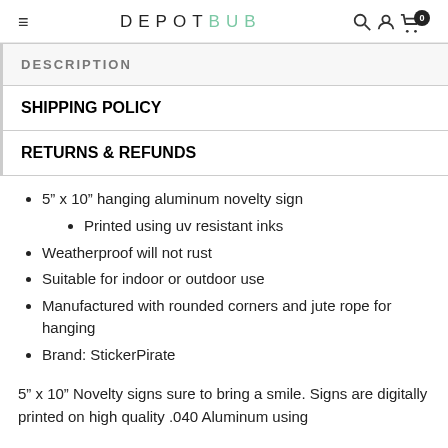DEPOT BUB
DESCRIPTION
SHIPPING POLICY
RETURNS & REFUNDS
5” x 10” hanging aluminum novelty sign
Printed using uv resistant inks
Weatherproof will not rust
Suitable for indoor or outdoor use
Manufactured with rounded corners and jute rope for hanging
Brand: StickerPirate
5” x 10” Novelty signs sure to bring a smile. Signs are digitally printed on high quality .040 Aluminum using